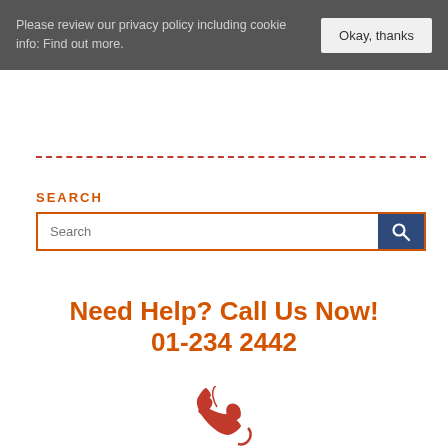Please review our privacy policy including cookie info: Find out more. | Okay, thanks
SEARCH
Search
Need Help? Call Us Now!
01-234 2442
[Figure (illustration): Orange telephone/phone handset icon]